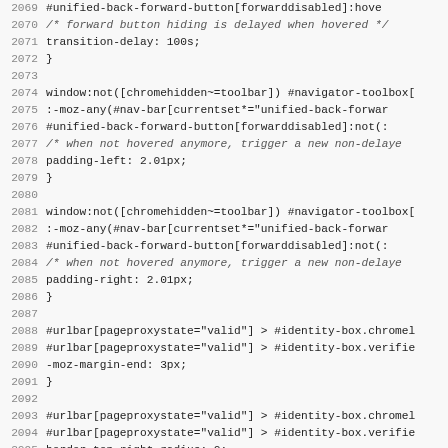Code listing lines 2069-2101, CSS source code for browser UI styling